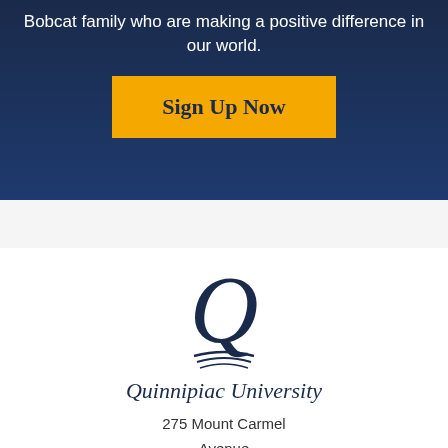Bobcat family who are making a positive difference in our world.
[Figure (other): Yellow 'Sign Up Now' button on dark navy background]
[Figure (logo): Quinnipiac University Q logo with swoosh marks in navy blue]
Quinnipiac University
275 Mount Carmel Avenue
Hamden, CT 06518
1-203-582-8200